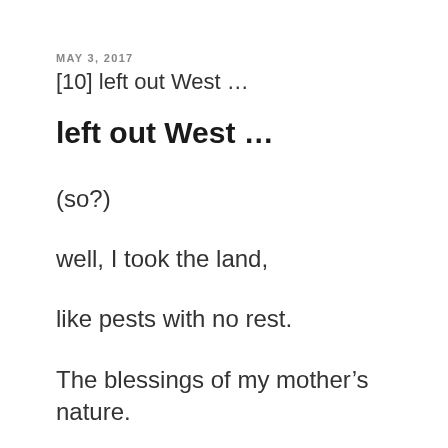MAY 3, 2017
[10] left out West…
left out West …
(so?)
well, I took the land,
like pests with no rest.
The blessings of my mother's nature.